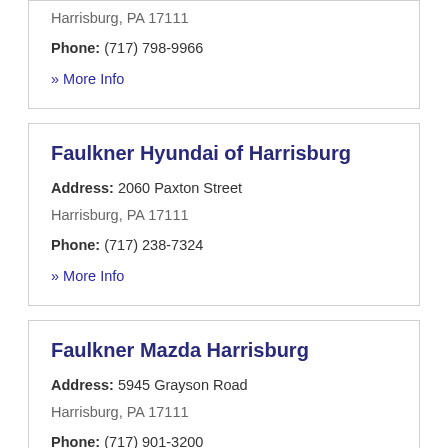Harrisburg, PA 17111
Phone: (717) 798-9966
» More Info
Faulkner Hyundai of Harrisburg
Address: 2060 Paxton Street
Harrisburg, PA 17111
Phone: (717) 238-7324
» More Info
Faulkner Mazda Harrisburg
Address: 5945 Grayson Road
Harrisburg, PA 17111
Phone: (717) 901-3200